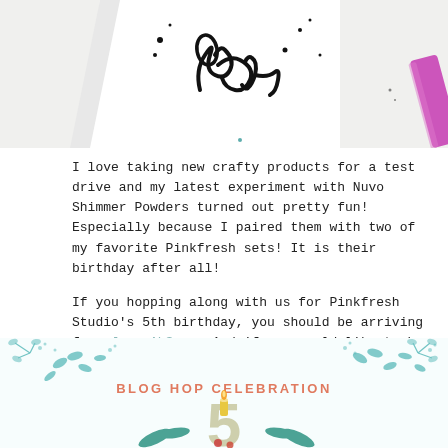[Figure (photo): Top portion of a crafting photo showing handwritten 'love' script with ink splatters on white paper, and a purple marker/tool visible at right edge]
I love taking new crafty products for a test drive and my latest experiment with Nuvo Shimmer Powders turned out pretty fun! Especially because I paired them with two of my favorite Pinkfresh sets! It is their birthday after all!
If you hopping along with us for Pinkfresh Studio's 5th birthday, you should be arriving from Jung AhSung. And if you would like to hop with us, you can start over at the Pinkfresh blog.
[Figure (illustration): Blog hop celebration graphic with teal botanical/leaf decorations and '5' birthday number with candle, text reads BLOG HOP CELEBRATION]